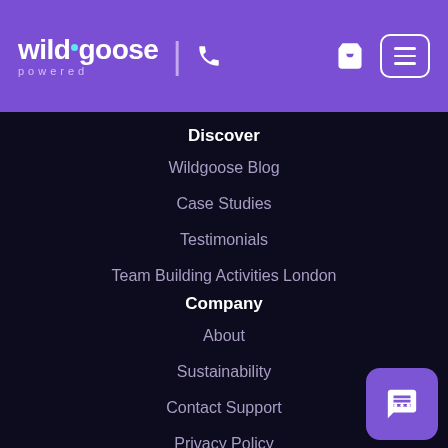[Figure (logo): Wildgoose powered logo in white on purple header background]
Discover
Wildgoose Blog
Case Studies
Testimonials
Team Building Activities London
Company
About
Sustainability
Contact Support
Privacy Policy